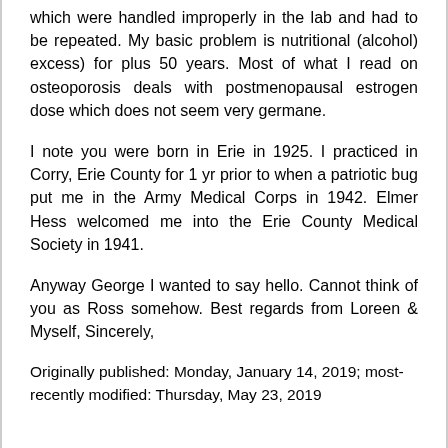which were handled improperly in the lab and had to be repeated. My basic problem is nutritional (alcohol) excess) for plus 50 years. Most of what I read on osteoporosis deals with postmenopausal estrogen dose which does not seem very germane.
I note you were born in Erie in 1925. I practiced in Corry, Erie County for 1 yr prior to when a patriotic bug put me in the Army Medical Corps in 1942. Elmer Hess welcomed me into the Erie County Medical Society in 1941.
Anyway George I wanted to say hello. Cannot think of you as Ross somehow. Best regards from Loreen & Myself, Sincerely,
Originally published: Monday, January 14, 2019; most-recently modified: Thursday, May 23, 2019